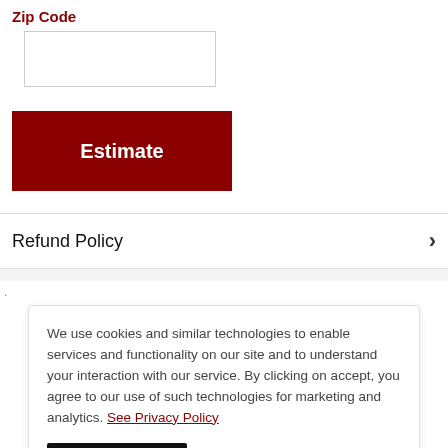Zip Code
[Figure (other): Empty text input field for zip code entry]
[Figure (other): Red 'Estimate' button]
Refund Policy
We use cookies and similar technologies to enable services and functionality on our site and to understand your interaction with our service. By clicking on accept, you agree to our use of such technologies for marketing and analytics. See Privacy Policy
[Figure (other): Black 'Accept' button for cookie consent]
5 ★ (0)